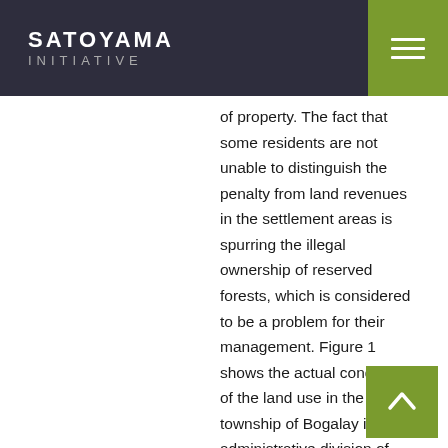SATOYAMA INITIATIVE
of property. The fact that some residents are not unable to distinguish the penalty from land revenues in the settlement areas is spurring the illegal ownership of reserved forests, which is considered to be a problem for their management. Figure 1 shows the actual condition of the land use in the township of Bogalay in the administrative division of Ayeyarwady. In this area, development has progressed in the reserved forests, and there are villages built on privately occupied land. There are also